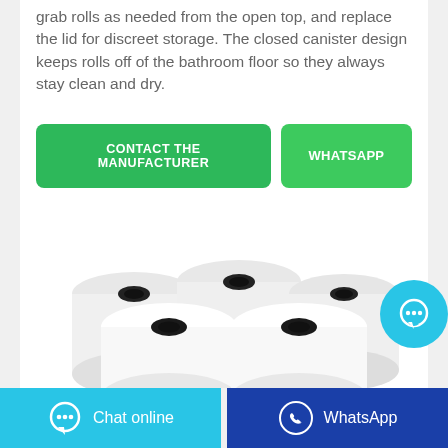grab rolls as needed from the open top, and replace the lid for discreet storage. The closed canister design keeps rolls off of the bathroom floor so they always stay clean and dry.
[Figure (other): Two green buttons: 'CONTACT THE MANUFACTURER' and 'WHATSAPP']
[Figure (photo): Five white toilet paper rolls stacked together viewed from the front, showing the cardboard cores]
Chat online | WhatsApp